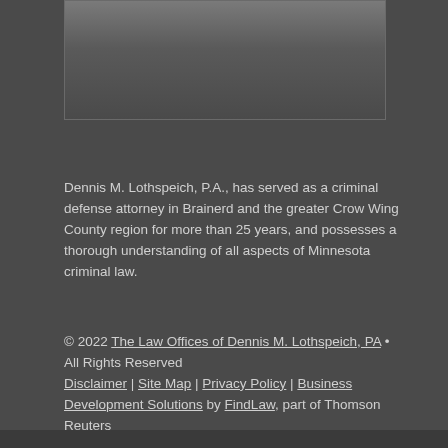[Figure (photo): Exterior photograph of a building, likely a courthouse or law office in Brainerd, Minnesota, showing brick architecture with fence posts along the street.]
Dennis M. Lothspeich, P.A., has served as a criminal defense attorney in Brainerd and the greater Crow Wing County region for more than 25 years, and possesses a thorough understanding of all aspects of Minnesota criminal law.
© 2022 The Law Offices of Dennis M. Lothspeich, PA • All Rights Reserved
Disclaimer | Site Map | Privacy Policy | Business Development Solutions by FindLaw, part of Thomson Reuters